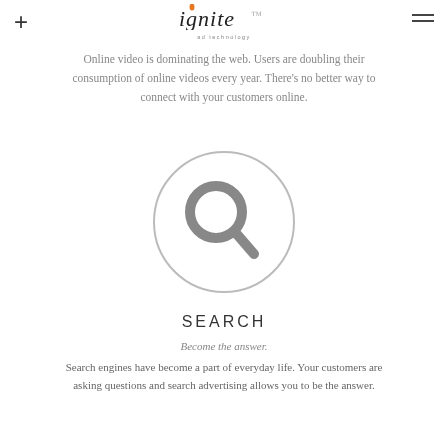+ ignite ad technology =
Online video is dominating the web. Users are doubling their consumption of online videos every year. There's no better way to connect with your customers online.
[Figure (illustration): A circle outline containing a magnifying glass icon (search icon) in gray]
SEARCH
Become the answer.
Search engines have become a part of everyday life. Your customers are asking questions and search advertising allows you to be the answer.